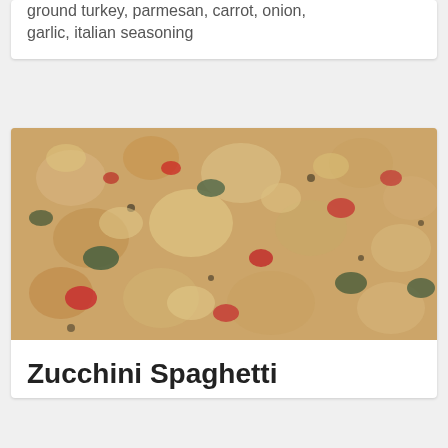ground turkey, parmesan, carrot, onion, garlic, italian seasoning
[Figure (photo): Close-up photo of a baked casserole dish with pasta (shell or elbow shapes), zucchini, red tomato pieces, and herbs with a creamy sauce]
Zucchini Spaghetti